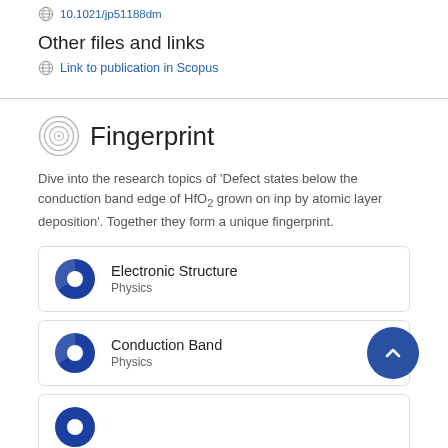10.1021/jp51188dm
Other files and links
Link to publication in Scopus
Fingerprint
Dive into the research topics of 'Defect states below the conduction band edge of HfO2 grown on inp by atomic layer deposition'. Together they form a unique fingerprint.
Electronic Structure
Physics
Conduction Band
Physics